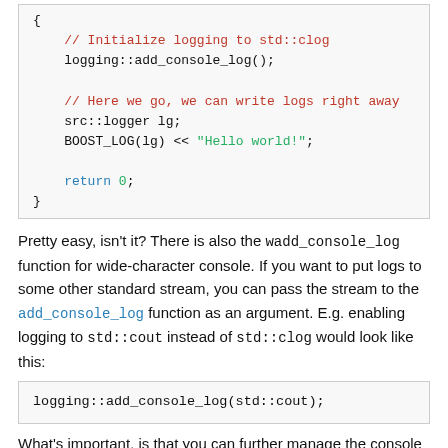[Figure (screenshot): Code block showing C++ code with colored syntax: comment '// Initialize logging to std::clog', 'logging::add_console_log();', comment '// Here we go, we can write logs right away', 'src::logger lg;', 'BOOST_LOG(lg) << "Hello world!";', 'return 0;', closing brace.]
Pretty easy, isn't it? There is also the wadd_console_log function for wide-character console. If you want to put logs to some other standard stream, you can pass the stream to the add_console_log function as an argument. E.g. enabling logging to std::cout instead of std::clog would look like this:
[Figure (screenshot): Single-line code block: logging::add_console_log(std::cout);]
What's important, is that you can further manage the console sink if you save the shared_ptr to the sink that this function returns. This allows you to set up things like filter, formatter and auto-flush flag.
[Figure (screenshot): Code block showing: int main(int, char*[]) { // Initialize logging to std::clog boost::shared_ptr< sinks::synchronous_sink< sinks::text_ostream ...]